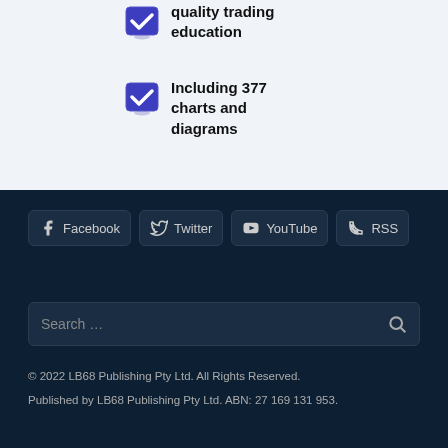quality trading education
Including 377 charts and diagrams
Facebook   Twitter   YouTube   RSS
Search …
© 2022 LB68 Publishing Pty Ltd. All Rights Reserved.
Published by LB68 Publishing Pty Ltd. ABN: 27 169 131 953.